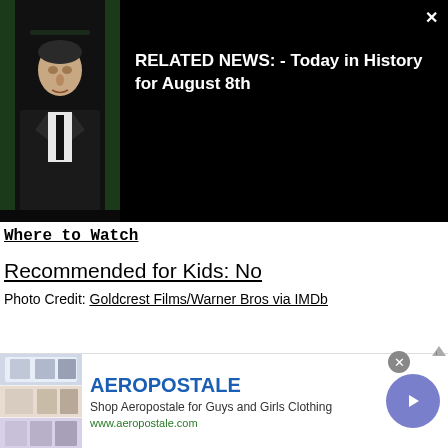[Figure (screenshot): Video overlay on dark background showing a man in a suit (Nixon figure) on the left thumbnail, with a close button (×) in the top right and 'RELATED NEWS: - Today in History for August 8th' text in white on the right side.]
Where to Watch
Recommended for Kids: No
Photo Credit: Goldcrest Films/Warner Bros via IMDb
[Figure (photo): Movie still showing children outdoors with a bare tree against a teal/mint sky background.]
[Figure (screenshot): Aeropostale advertisement banner with clothing images on left, brand name 'AEROPOSTALE' in blue, tagline 'Shop Aeropostale for Guys and Girls Clothing', URL 'www.aeropostale.com', and a purple arrow button on right. Close button (×) in grey circle.]